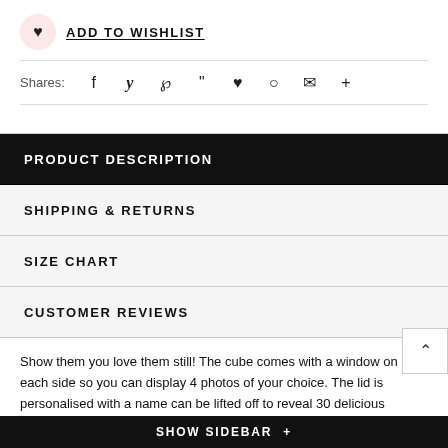ADD TO WISHLIST
Shares: [social icons: facebook, twitter, pinterest, grid, bookmark, circle, email, plus]
PRODUCT DESCRIPTION
SHIPPING & RETURNS
SIZE CHART
CUSTOMER REVIEWS
Show them you love them still! The cube comes with a window on each side so you can display 4 photos of your choice. The lid is personalised with a name can be lifted off to reveal 30 delicious Belgian chocolate hearts wrapped in a burgundy foil - one heart for everyday of the month. Once the month is over
SHOW SIDEBAR +